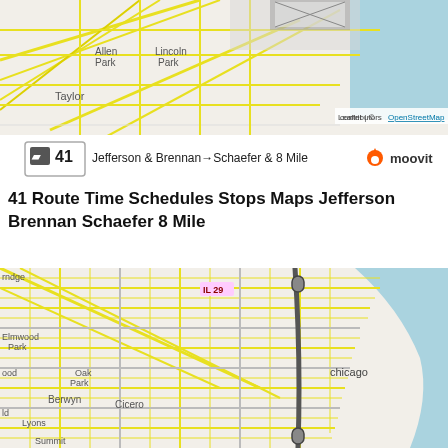[Figure (map): Map showing bus route 41 from Jefferson & Brennan to Schaefer & 8 Mile, with Moovit branding. Shows Allen Park, Lincoln Park, Taylor, LaSalle neighborhoods. Leaflet / OpenStreetMap attribution.]
41 Route Time Schedules Stops Maps Jefferson Brennan Schaefer 8 Mile
[Figure (map): Larger map of Chicago area showing the bus route 41 as a grey/dark line running roughly north-south through the city. Shows neighborhoods including Elmwood Park, Oak Park, Berwyn, Cicero, Lyons, Summit, and Chicago label near Lake Michigan (light blue water area on right).]